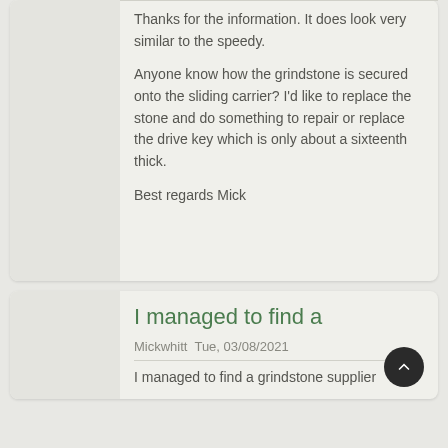Thanks for the information. It does look very similar to the speedy.
Anyone know how the grindstone is secured onto the sliding carrier? I'd like to replace the stone and do something to repair or replace the drive key which is only about a sixteenth thick.
Best regards Mick
I managed to find a
Mickwhitt Tue, 03/08/2021
I managed to find a grindstone supplier